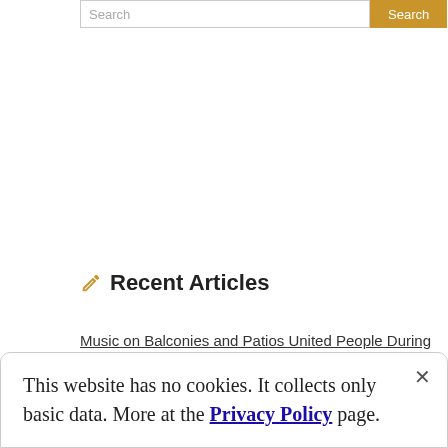Search [input] Search [button]
✏ Recent Articles
Music on Balconies and Patios United People During The Pandemic
Choose the Best Portable Music Gear for Your Next Hunting Expeditions
How To Manage Your Tasks with Music
This website has no cookies. It collects only basic data. More at the Privacy Policy page.